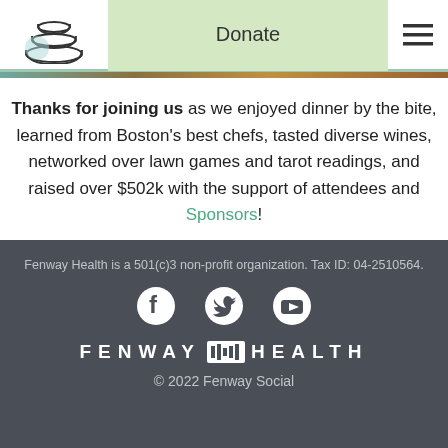Donate
Thanks for joining us as we enjoyed dinner by the bite, learned from Boston's best chefs, tasted diverse wines, networked over lawn games and tarot readings, and raised over $502k with the support of attendees and Sponsors!
Fenway Health is a 501(c)3 non-profit organization. Tax ID: 04-2510564. © 2022 Fenway Social